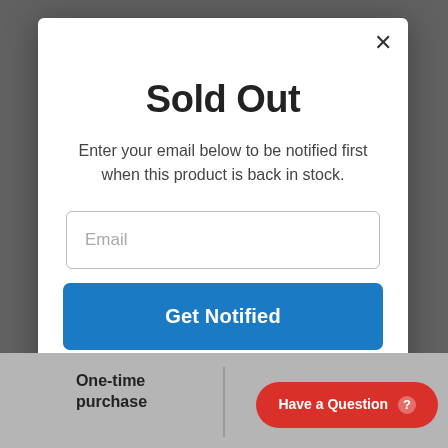Sold Out
Enter your email below to be notified first when this product is back in stock.
Email
Get Notified
No, thanks
One-time purchase
save 25%
Have a Question ?